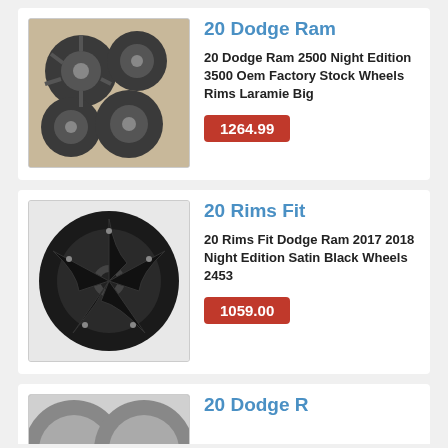[Figure (photo): Four dark gray/gunmetal Dodge Ram OEM alloy wheels arranged in a cluster on a tan/beige surface]
20 Dodge Ram
20 Dodge Ram 2500 Night Edition 3500 Oem Factory Stock Wheels Rims Laramie Big
1264.99
[Figure (photo): Single black satin 5-spoke alloy wheel/rim on white background]
20 Rims Fit
20 Rims Fit Dodge Ram 2017 2018 Night Edition Satin Black Wheels 2453
1059.00
[Figure (photo): Partial view of chrome/silver alloy wheels, partially cut off at bottom of page]
20 Dodge R...